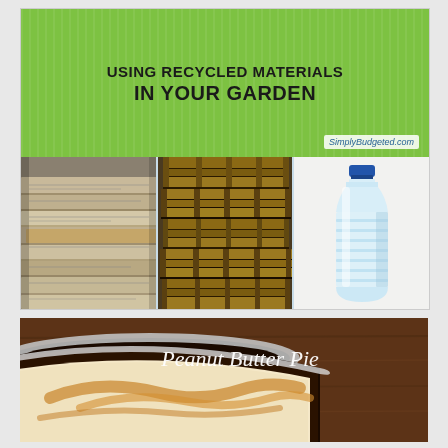[Figure (infographic): Green banner with bold black text reading 'USING RECYCLED MATERIALS IN YOUR GARDEN' with website 'SimplyBudgeted.com', below which are three photos: stacked newspapers, wooden pallets, and a plastic bottle]
[Figure (photo): Peanut Butter Pie close-up photo showing a pie in a tin with cream filling and peanut butter swirl, dark chocolate crust, with white italic text label 'Peanut Butter Pie']